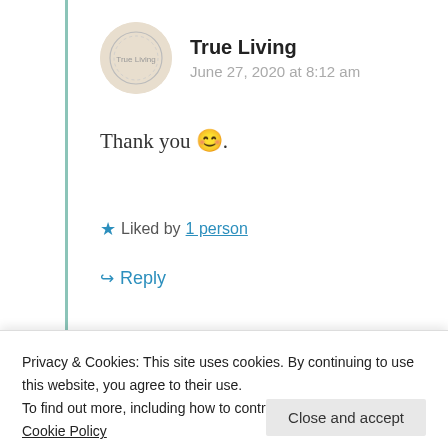True Living
June 27, 2020 at 8:12 am
Thank you 😊.
★ Liked by 1 person
↪ Reply
Privacy & Cookies: This site uses cookies. By continuing to use this website, you agree to their use.
To find out more, including how to control cookies, see here: Cookie Policy
Close and accept
things to do at the moment 😊